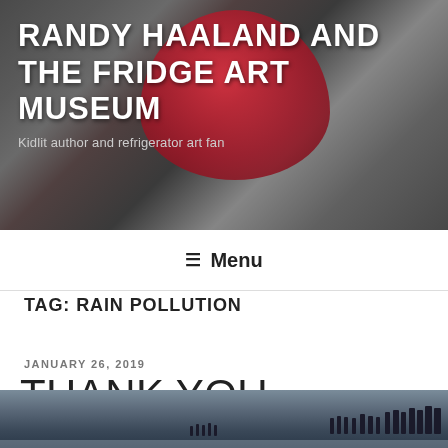RANDY HAALAND AND THE FRIDGE ART MUSEUM
Kidlit author and refrigerator art fan
≡ Menu
TAG: RAIN POLLUTION
JANUARY 26, 2019
THANK YOU STINKY ALGAE
[Figure (photo): A wintry beach or frozen lake scene with silhouetted people walking along the shore/ice in dim, grey-blue light]